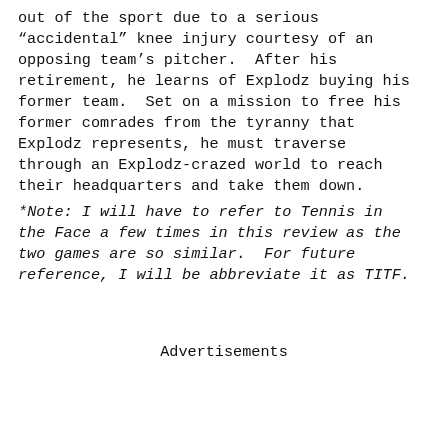out of the sport due to a serious "accidental" knee injury courtesy of an opposing team's pitcher.  After his retirement, he learns of Explodz buying his former team.  Set on a mission to free his former comrades from the tyranny that Explodz represents, he must traverse through an Explodz-crazed world to reach their headquarters and take them down.
*Note: I will have to refer to Tennis in the Face a few times in this review as the two games are so similar.  For future reference, I will be abbreviate it as TITF.
Advertisements